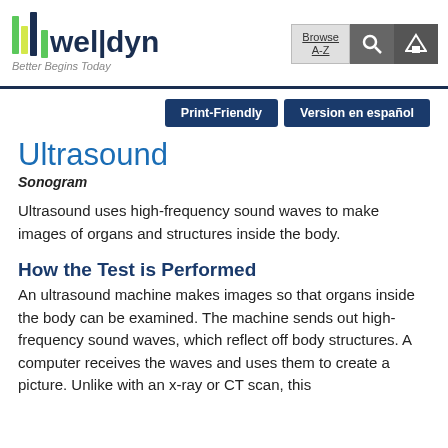[Figure (logo): WellDyne logo with vertical bar graphic in green and yellow, tagline 'Better Begins Today']
[Figure (other): Navigation bar with Browse A-Z button, search icon, and home icon]
Print-Friendly
Version en español
Ultrasound
Sonogram
Ultrasound uses high-frequency sound waves to make images of organs and structures inside the body.
How the Test is Performed
An ultrasound machine makes images so that organs inside the body can be examined. The machine sends out high-frequency sound waves, which reflect off body structures. A computer receives the waves and uses them to create a picture. Unlike with an x-ray or CT scan, this